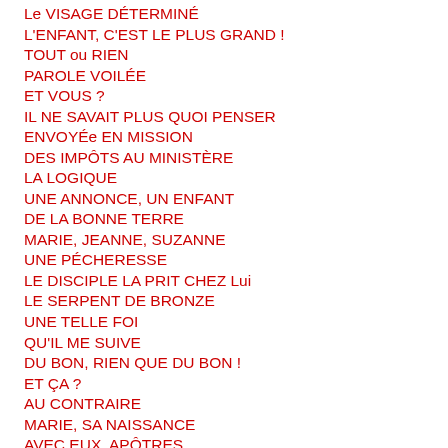Le VISAGE DÉTERMINÉ
L'ENFANT, C'EST LE PLUS GRAND !
TOUT ou RIEN
PAROLE VOILÉE
ET VOUS ?
IL NE SAVAIT PLUS QUOI PENSER
ENVOYÉe EN MISSION
DES IMPÔTS AU MINISTÈRE
LA LOGIQUE
UNE ANNONCE, UN ENFANT
DE LA BONNE TERRE
MARIE, JEANNE, SUZANNE
UNE PÉCHERESSE
LE DISCIPLE LA PRIT CHEZ Lui
LE SERPENT DE BRONZE
UNE TELLE FOI
QU'IL ME SUIVE
DU BON, RIEN QUE DU BON !
ET ÇA ?
AU CONTRAIRE
MARIE, SA NAISSANCE
AVEC EUX, APÔTRES